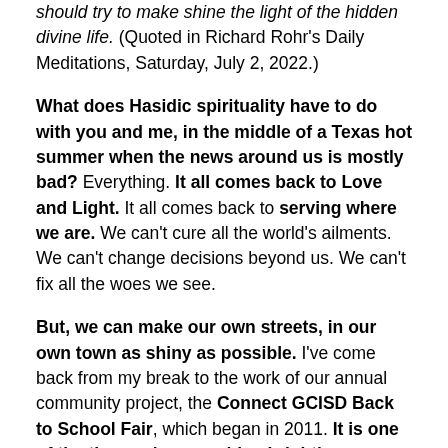should try to make shine the light of the hidden divine life. (Quoted in Richard Rohr's Daily Meditations, Saturday, July 2, 2022.)
What does Hasidic spirituality have to do with you and me, in the middle of a Texas hot summer when the news around us is mostly bad? Everything. It all comes back to Love and Light. It all comes back to serving where we are. We can't cure all the world's ailments. We can't change decisions beyond us. We can't fix all the woes we see.
But, we can make our own streets, in our own town as shiny as possible. I've come back from my break to the work of our annual community project, the Connect GCISD Back to School Fair, which began in 2011. It is one of the times when we shine brightly on behalf of families in need. To me, this event is as inspiring as a